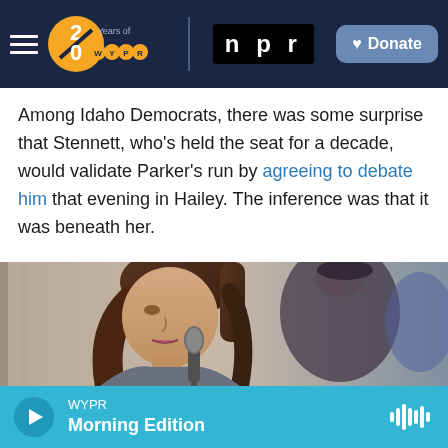WYPR 20 Years of WYPR | npr | Donate
Among Idaho Democrats, there was some surprise that Stennett, who's held the seat for a decade, would validate Parker's run by agreeing to debate him that evening in Hailey. The inference was that it was beneath her.
[Figure (photo): A woman with long brown hair in a ponytail speaks into a microphone at what appears to be a debate or public event. A man in a dark shirt is visible in the blurred background.]
WYPR Morning Edition